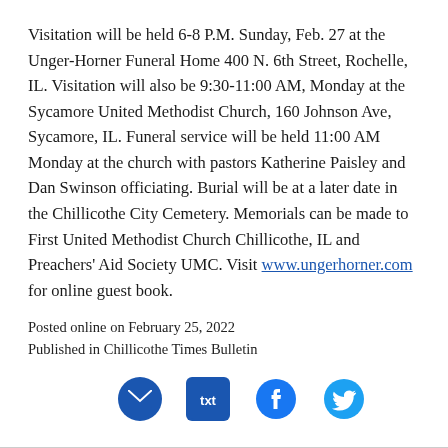Visitation will be held 6-8 P.M. Sunday, Feb. 27 at the Unger-Horner Funeral Home 400 N. 6th Street, Rochelle, IL. Visitation will also be 9:30-11:00 AM, Monday at the Sycamore United Methodist Church, 160 Johnson Ave, Sycamore, IL. Funeral service will be held 11:00 AM Monday at the church with pastors Katherine Paisley and Dan Swinson officiating. Burial will be at a later date in the Chillicothe City Cemetery. Memorials can be made to First United Methodist Church Chillicothe, IL and Preachers' Aid Society UMC. Visit www.ungerhorner.com for online guest book.
Posted online on February 25, 2022
Published in Chillicothe Times Bulletin
[Figure (infographic): Four social sharing icons: email (envelope), txt (message bubble), Facebook, Twitter — all in blue tones]